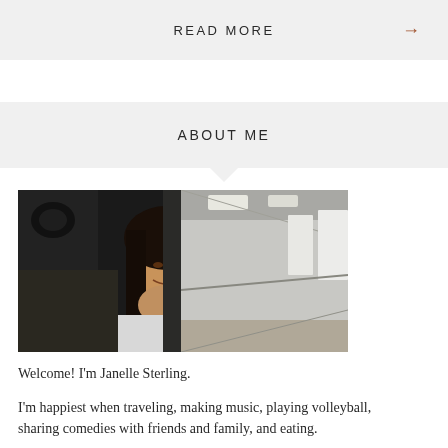READ MORE →
ABOUT ME
[Figure (photo): Young woman with dark hair leaning on a door frame looking out toward a bright corridor, wearing a white top, photographed in a dimly lit room.]
Welcome! I'm Janelle Sterling.
I'm happiest when traveling, making music, playing volleyball, sharing comedies with friends and family, and eating.